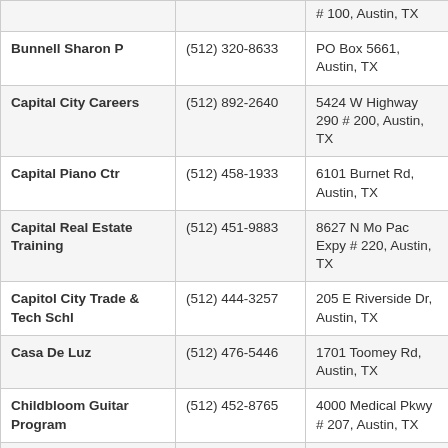| Name | Phone | Address |
| --- | --- | --- |
|  |  | # 100, Austin, TX |
| Bunnell Sharon P | (512) 320-8633 | PO Box 5661, Austin, TX |
| Capital City Careers | (512) 892-2640 | 5424 W Highway 290 # 200, Austin, TX |
| Capital Piano Ctr | (512) 458-1933 | 6101 Burnet Rd, Austin, TX |
| Capital Real Estate Training | (512) 451-9883 | 8627 N Mo Pac Expy # 220, Austin, TX |
| Capitol City Trade & Tech Schl | (512) 444-3257 | 205 E Riverside Dr, Austin, TX |
| Casa De Luz | (512) 476-5446 | 1701 Toomey Rd, Austin, TX |
| Childbloom Guitar Program | (512) 452-8765 | 4000 Medical Pkwy # 207, Austin, TX |
| Circle C Child Development Ctr | (512) 288-9792 | 5917 La Crosse Ave, Austin, TX |
| College Nannies & | (512) 372-8385 | 3908 Far West |